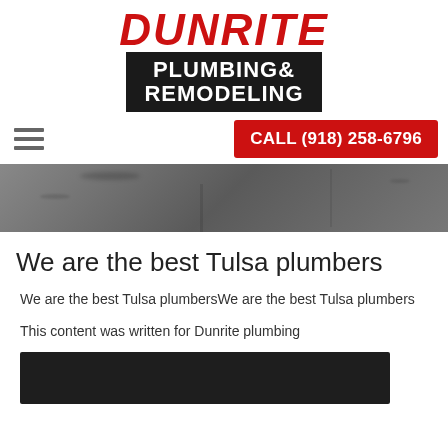[Figure (logo): Dunrite Plumbing & Remodeling logo. 'DUNRITE' in large red italic letters on white background, with 'PLUMBING & REMODELING' in white bold text on a black rectangular background below.]
[Figure (other): Hamburger menu icon (three horizontal gray lines) on the left side of the navigation bar.]
CALL (918) 258-6796
[Figure (photo): A dark gray concrete or stone textured background spanning the full width of the page, used as a hero banner.]
We are the best Tulsa plumbers
We are the best Tulsa plumbersWe are the best Tulsa plumbers
This content was written for Dunrite plumbing
[Figure (photo): A dark/black rectangle at the bottom of the page, partially visible, appearing to be the top portion of an image.]